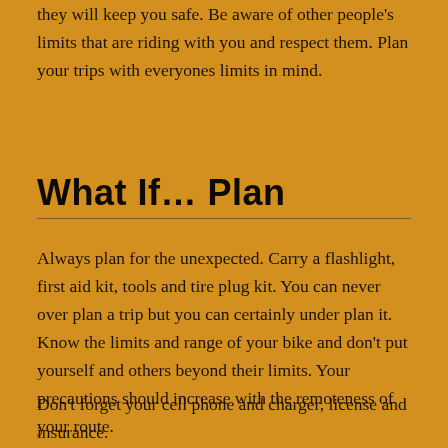they will keep you safe. Be aware of other people's limits that are riding with you and respect them. Plan your trips with everyones limits in mind.
What If… Plan
Always plan for the unexpected. Carry a flashlight, first aid kit, tools and tire plug kit. You can never over plan a trip but you can certainly under plan it. Know the limits and range of your bike and don't put yourself and others beyond their limits. Your precautions should increase with the remoteness of your route.
Don't forget your cell phone and charger, license and insurance.